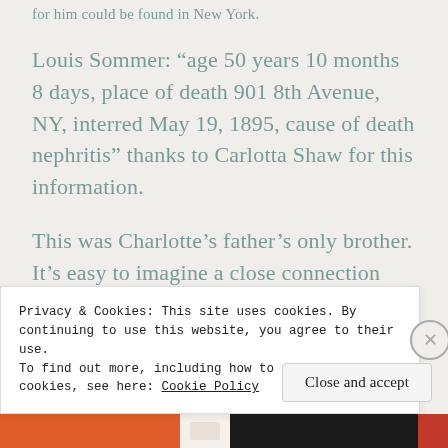for him could be found in New York.
Louis Sommer: “age 50 years 10 months 8 days, place of death 901 8th Avenue, NY, interred May 19, 1895, cause of death nephritis” thanks to Carlotta Shaw for this information.
This was Charlotte’s father’s only brother. It’s easy to imagine a close connection
Privacy & Cookies: This site uses cookies. By continuing to use this website, you agree to their use.
To find out more, including how to control cookies, see here: Cookie Policy
Close and accept